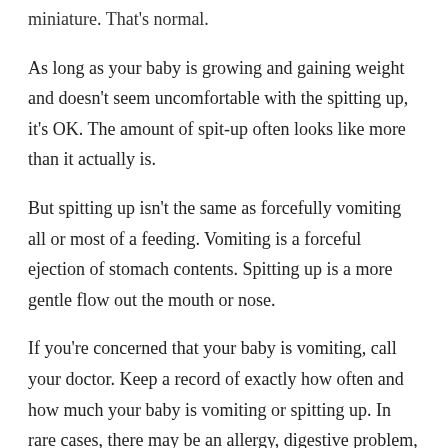miniature. That's normal.
As long as your baby is growing and gaining weight and doesn't seem uncomfortable with the spitting up, it's OK. The amount of spit-up often looks like more than it actually is.
But spitting up isn't the same as forcefully vomiting all or most of a feeding. Vomiting is a forceful ejection of stomach contents. Spitting up is a more gentle flow out the mouth or nose.
If you're concerned that your baby is vomiting, call your doctor. Keep a record of exactly how often and how much your baby is vomiting or spitting up. In rare cases, there may be an allergy, digestive problem, or other problem that needs medical care. The doctor should be able to tell you if it's normal or something of concern.